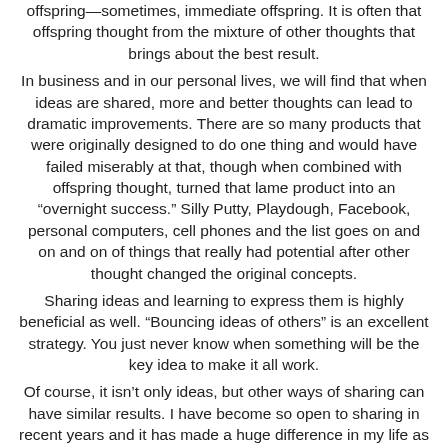offspring—sometimes, immediate offspring. It is often that offspring thought from the mixture of other thoughts that brings about the best result.
In business and in our personal lives, we will find that when ideas are shared, more and better thoughts can lead to dramatic improvements. There are so many products that were originally designed to do one thing and would have failed miserably at that, though when combined with offspring thought, turned that lame product into an "overnight success." Silly Putty, Playdough, Facebook, personal computers, cell phones and the list goes on and on and on of things that really had potential after other thought changed the original concepts.
Sharing ideas and learning to express them is highly beneficial as well. "Bouncing ideas of others" is an excellent strategy. You just never know when something will be the key idea to make it all work.
Of course, it isn't only ideas, but other ways of sharing can have similar results. I have become so open to sharing in recent years and it has made a huge difference in my life as a result.
Share Your Thoughts And Ideas To Gain Even More.